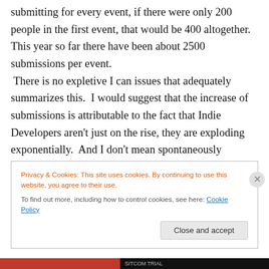submitting for every event, if there were only 200 people in the first event, that would be 400 altogether.  This year so far there have been about 2500 submissions per event.  There is no expletive I can issues that adequately summarizes this.  I would suggest that the increase of submissions is attributable to the fact that Indie Developers aren't just on the rise, they are exploding exponentially.  And I don't mean spontaneously combusting, either, I mean their numbers are increasing at a rate comparable to an epidemic.  Then again, this shouldn't come as a surprise, and Mr. Kasprzak suggested
Privacy & Cookies: This site uses cookies. By continuing to use this website, you agree to their use.
To find out more, including how to control cookies, see here: Cookie Policy
Close and accept